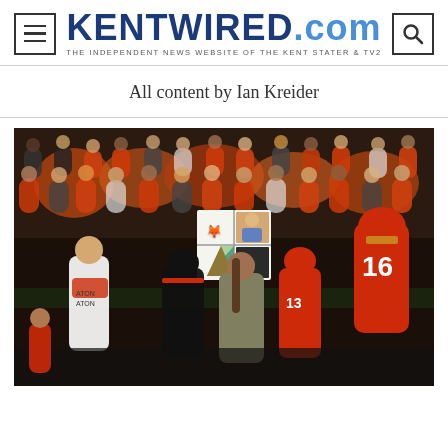KENTWIRED.com — THE INDEPENDENT NEWS WEBSITE OF THE KENT STATER & TV2
All content by Ian Kreider
[Figure (photo): Football game sideline photo showing players in red jerseys (number 16 visible) and a coach/staff member holding up a play-call sign with four quadrants containing logos. Crowd of fans visible in the background wearing red and orange.]